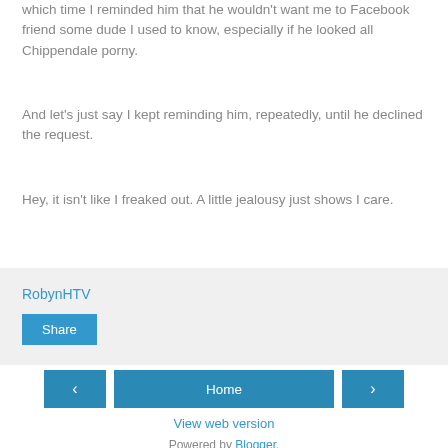which time I reminded him that he wouldn't want me to Facebook friend some dude I used to know, especially if he looked all Chippendale porny.
And let's just say I kept reminding him, repeatedly, until he declined the request.
Hey, it isn't like I freaked out. A little jealousy just shows I care.
RobynHTV
Share
‹
Home
›
View web version
Powered by Blogger.